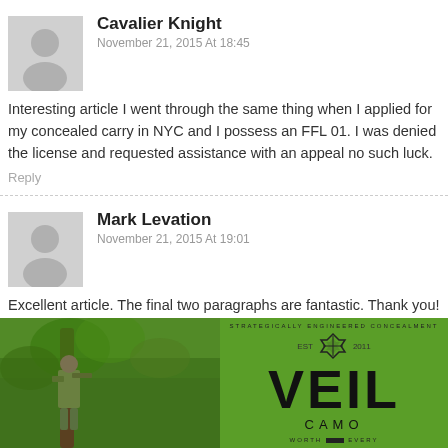Cavalier Knight
November 21, 2015 At 18:45
Interesting article I went through the same thing when I applied for my concealed carry in NYC and I possess an FFL 01. I was denied the license and requested assistance with an appeal no such luck.
Reply
Mark Levation
November 21, 2015 At 19:01
Excellent article. The final two paragraphs are fantastic. Thank you!
[Figure (photo): Advertisement for VEIL CAMO brand showing a hunter in camouflage in a tree on the left, and the VEIL CAMO logo on a green background on the right.]